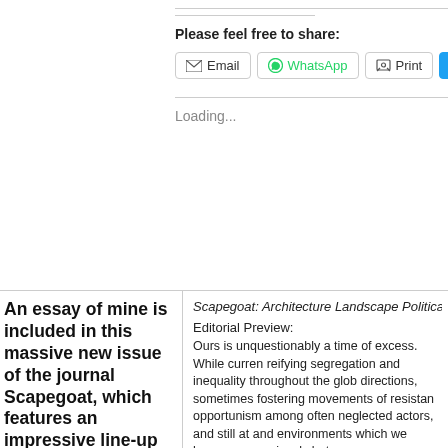Please feel free to share:
Email   WhatsApp   Print   Tw...
Loading...
An essay of mine is included in this massive new issue of the journal Scapegoat, which features an impressive line-up of contributors in over 400 pages on the topic of
Scapegoat: Architecture Landscape Political Economy
Editorial Preview:
Ours is unquestionably a time of excess. While curren reifying segregation and inequality throughout the glob directions, sometimes fostering movements of resistan opportunism among often neglected actors, and still at and environments which we humans precariously but m excess cross divisions of class, race, gender and sexu other identities.